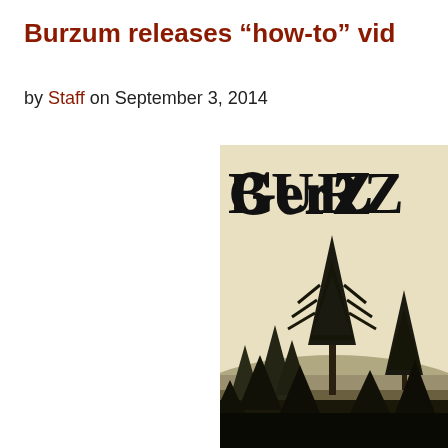Burzum releases “how-to” vid
by Staff on September 3, 2014
[Figure (photo): Sepia-toned album art or promotional image showing conifer trees in a forest landscape with 'BURZ' text in gothic blackletter font at the top, partially cropped.]